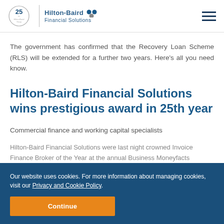[Figure (logo): Hilton-Baird Financial Solutions logo with 25th anniversary circle mark and colored dots]
The government has confirmed that the Recovery Loan Scheme (RLS) will be extended for a further two years. Here’s all you need know.
Hilton-Baird Financial Solutions wins prestigious award in 25th year
Commercial finance and working capital specialists Hilton-Baird Financial Solutions were last night crowned Invoice Finance Broker of the Year at the annual Business Moneyfacts Awards.
Our website uses cookies. For more information about managing cookies, visit our Privacy and Cookie Policy.